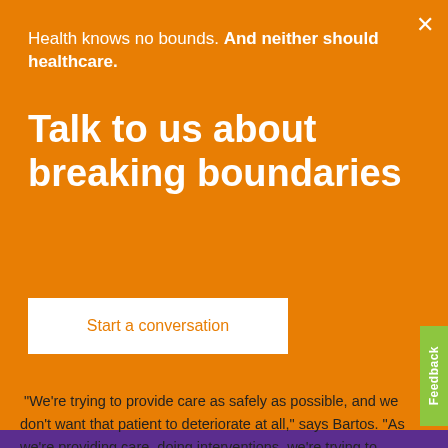[Figure (screenshot): Orange marketing overlay popup with close button, headline text, title, and CTA button over a healthcare article page]
Health knows no bounds. And neither should healthcare.
Talk to us about breaking boundaries
Start a conversation
four years since installation.
“We’re trying to provide care as safely as possible, and we don’t want that patient to deteriorate at all,” says Bartos. “As we’re providing care, doing interventions, we’re trying to provide care in the safest environment possible. We have shown over time and very dramatically right after implementing early warning scoring, that we have decreased the number of code dramatically.”